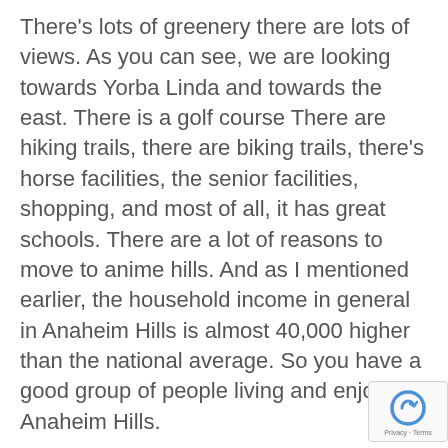There's lots of greenery there are lots of views. As you can see, we are looking towards Yorba Linda and towards the east. There is a golf course There are hiking trails, there are biking trails, there's horse facilities, the senior facilities, shopping, and most of all, it has great schools. There are a lot of reasons to move to anime hills. And as I mentioned earlier, the household income in general in Anaheim Hills is almost 40,000 higher than the national average. So you have a good group of people living and enjoying Anaheim Hills.
Welcome to One two to five Springwood in Anaheim Hills. This is a newer home built in year 2000 great area of Anaheim Hills right next